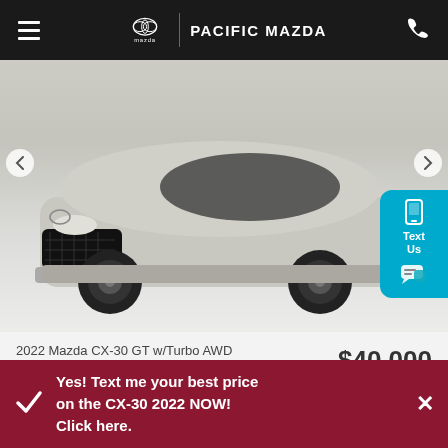PACIFIC MAZDA
[Figure (photo): Front view of a silver 2022 Mazda CX-30 GT with Turbo AWD on a light background, with navigation arrows on each side and a Text Us button on the right]
2022 Mazda CX-30 GT w/Turbo AWD
MSRP starting at:
$40,000
Mazda's monthly offer:
-$250
Your price:
$39,750*
Yes! Text me your best price on the CX-30 2022 NOW! Click here.